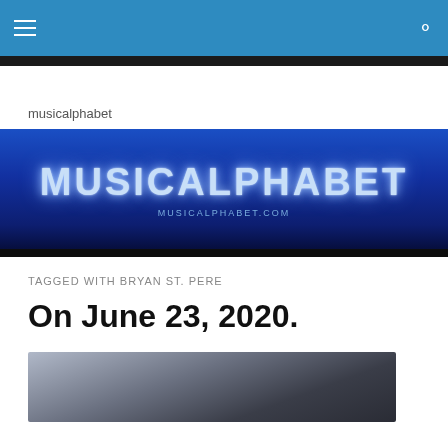Navigation bar with hamburger menu and search icon
musicalphabet
[Figure (illustration): MUSICALPHABET banner with large white glowing text on a deep blue background with blurred musical instruments. Subtitle reads MUSICALPHABET.COM]
TAGGED WITH BRYAN ST. PERE
On June 23, 2020.
[Figure (photo): Partially visible photograph at the bottom of the page showing a dark, moody image]